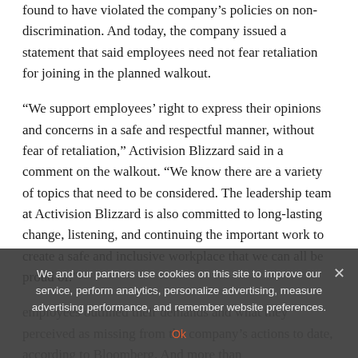found to have violated the company's policies on non-discrimination. And today, the company issued a statement that said employees need not fear retaliation for joining in the planned walkout.
“We support employees’ right to express their opinions and concerns in a safe and respectful manner, without fear of retaliation,” Activision Blizzard said in a comment on the walkout. “We know there are a variety of topics that need to be considered. The leadership team at Activision Blizzard is also committed to long-lasting change, listening, and continuing the important work to create a safe and inclusive workplace that we can all be proud of.”
employees outlined their demands and what they perceived as missing from the company’s actions to date, according to Bloomberg. And more than
We and our partners use cookies on this site to improve our service, perform analytics, personalize advertising, measure advertising performance, and remember website preferences.